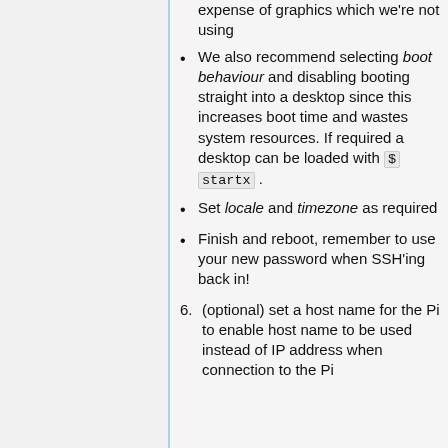expense of graphics which we're not using
We also recommend selecting boot behaviour and disabling booting straight into a desktop since this increases boot time and wastes system resources. If required a desktop can be loaded with $ startx .
Set locale and timezone as required
Finish and reboot, remember to use your new password when SSH'ing back in!
6. (optional) set a host name for the Pi to enable host name to be used instead of IP address when connection to the Pi